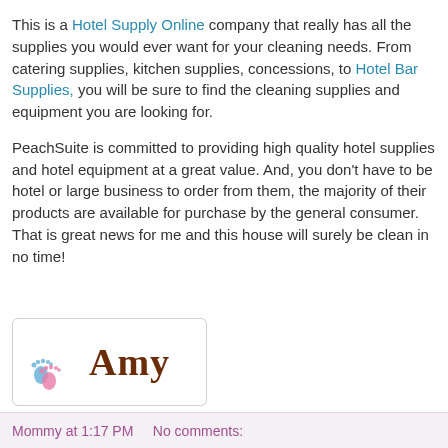This is a Hotel Supply Online company that really has all the supplies you would ever want for your cleaning needs. From catering supplies, kitchen supplies, concessions, to Hotel Bar Supplies, you will be sure to find the cleaning supplies and equipment you are looking for.
PeachSuite is committed to providing high quality hotel supplies and hotel equipment at a great value. And, you don't have to be hotel or large business to order from them, the majority of their products are available for purchase by the general consumer.  That is great news for me and this house will surely be clean in no time!
[Figure (illustration): Signature box with baby footprints (blue and pink) and the name 'Amy' in brown serif font]
Mommy at 1:17 PM    No comments: